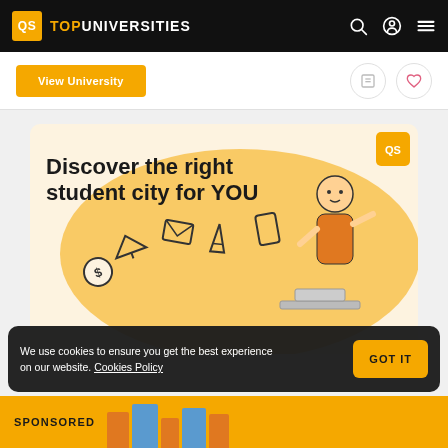QS TOPUNIVERSITIES
View University
[Figure (infographic): QS promotional ad banner: 'Discover the right student city for YOU' with illustrated student, city icons, and yellow blob background. QS logo badge in corner.]
We use cookies to ensure you get the best experience on our website. Cookies Policy
GOT IT
SPONSORED